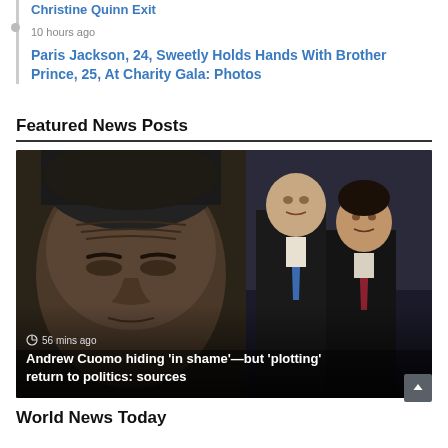Christine Quinn Exit
10 hours ago
Paris Jackson, 24, Sweetly Holds Hands With Brother Prince, 25, At Charity Gala: Photos
Featured News Posts
[Figure (photo): Left: close-up of Andrew Cuomo with eyes downcast and furrowed brow. Right: Andrew Cuomo and Chris Cuomo smiling together in formal attire at an event. Overlay text: '56 mins ago' and 'Andrew Cuomo hiding 'in shame'—but 'plotting' return to politics: sources']
World News Today